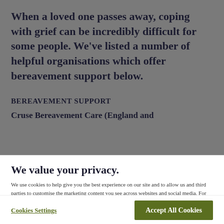When a loved one passes away, coping with grief can be incredibly difficult for some people. We've listed a number of helpful organisations which offer bereavement support below.
BEREAVEMENT SUPPORT
Cruse Bereavement Care (England and
We value your privacy.
We use cookies to help give you the best experience on our site and to allow us and third parties to customise the marketing content you see across websites and social media. For more information see our Cookie Policy
Cookies Settings
Accept All Cookies